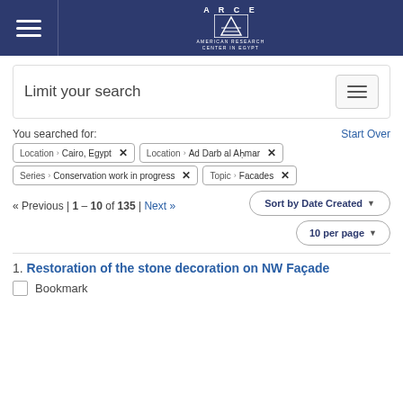ARCE — American Research Center in Egypt
Limit your search
You searched for:
Start Over
Location › Cairo, Egypt ✕
Location › Ad Darb al Ahmar ✕
Series › Conservation work in progress ✕
Topic › Facades ✕
« Previous | 1 – 10 of 135 | Next »
Sort by Date Created
10 per page
1. Restoration of the stone decoration on NW Façade
Bookmark